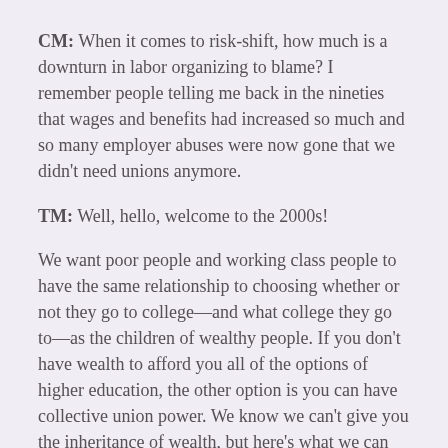CM: When it comes to risk-shift, how much is a downturn in labor organizing to blame? I remember people telling me back in the nineties that wages and benefits had increased so much and so many employer abuses were now gone that we didn't need unions anymore.
TM: Well, hello, welcome to the 2000s!
We want poor people and working class people to have the same relationship to choosing whether or not they go to college—and what college they go to—as the children of wealthy people. If you don't have wealth to afford you all of the options of higher education, the other option is you can have collective union power. We know we can't give you the inheritance of wealth, but here's what we can say: working collectively through unions and worker power, we can provide a better labor arrangement. We can negotiate on your behalf with capital interests to secure you a better employment arrangement so you